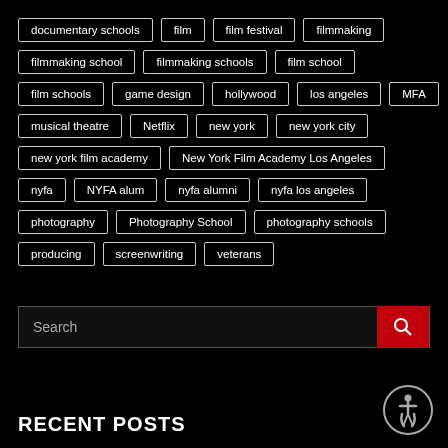documentary schools
film
film festival
filmmaking
filmmaking school
filmmaking schools
film school
film schools
game design
hollywood
los angeles
MFA
musical theatre
Netflix
new york
new york city
new york film academy
New York Film Academy Los Angeles
nyfa
NYFA alum
nyfa alumni
nyfa los angeles
photography
Photography School
photography schools
producing
screenwriting
veterans
[Figure (other): Search bar with red search button]
RECENT POSTS
[Figure (illustration): Accessibility icon in circular border]